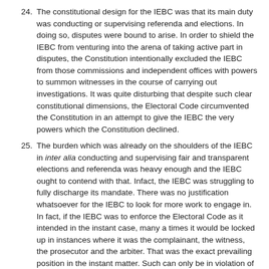24. The constitutional design for the IEBC was that its main duty was conducting or supervising referenda and elections. In doing so, disputes were bound to arise. In order to shield the IEBC from venturing into the arena of taking active part in disputes, the Constitution intentionally excluded the IEBC from those commissions and independent offices with powers to summon witnesses in the course of carrying out investigations. It was quite disturbing that despite such clear constitutional dimensions, the Electoral Code circumvented the Constitution in an attempt to give the IEBC the very powers which the Constitution declined.
25. The burden which was already on the shoulders of the IEBC in inter alia conducting and supervising fair and transparent elections and referenda was heavy enough and the IEBC ought to contend with that. Infact, the IEBC was struggling to fully discharge its mandate. There was no justification whatsoever for the IEBC to look for more work to engage in. In fact, if the IEBC was to enforce the Electoral Code as it intended in the instant case, many a times it would be locked up in instances where it was the complainant, the witness, the prosecutor and the arbiter. That was the exact prevailing position in the instant matter. Such can only be in violation of article 50 of the Constitution.
26. The IEBC had no jurisdiction to either summon any witness or to conduct any hearing in relation to a complaint on breach of the